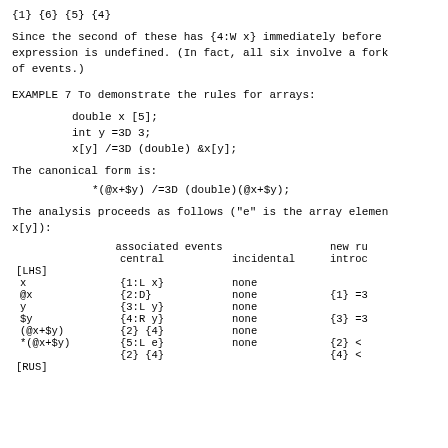{1} {6} {5} {4}
Since the second of these has {4:W x} immediately before expression is undefined. (In fact, all six involve a fork of events.)
EXAMPLE 7 To demonstrate the rules for arrays:
double x [5];
int y =3D 3;
x[y] /=3D (double) &x[y];
The canonical form is:
*(@@x+$y) /=3D (double)(@@x+$y);
The analysis proceeds as follows ("e" is the array element x[y]):
|  | associated events central | associated events incidental | new ru introc |
| --- | --- | --- | --- |
| [LHS] |  |  |  |
| x | {1:L x} | none |  |
| @@x | {2:D} | none | {1} =3 |
| y | {3:L y} | none |  |
| $y | {4:R y} | none | {3} =3 |
| (@@x+$y) | {2} {4} | none |  |
| *(@@x+$y) | {5:L e} | none | {2} < |
|  | {2} {4} |  | {4} < |
| [RUS] |  |  |  |